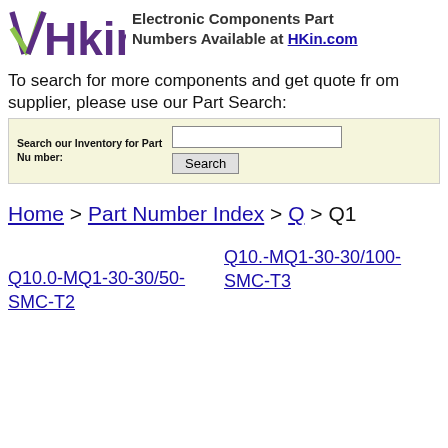HKin.com Electronic Components Part Numbers Available at HKin.com
To search for more components and get quote from supplier, please use our Part Search:
Search our Inventory for Part Number: [input] [Search button]
Home > Part Number Index > Q > Q1
Q10.0-MQ1-30-30/50-SMC-T2
Q10.-MQ1-30-30/100-SMC-T3